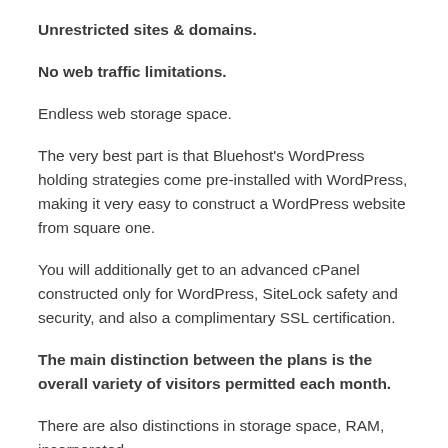Unrestricted sites & domains.
No web traffic limitations.
Endless web storage space.
The very best part is that Bluehost's WordPress holding strategies come pre-installed with WordPress, making it very easy to construct a WordPress website from square one.
You will additionally get to an advanced cPanel constructed only for WordPress, SiteLock safety and security, and also a complimentary SSL certification.
The main distinction between the plans is the overall variety of visitors permitted each month.
There are also distinctions in storage space, RAM, incorporated